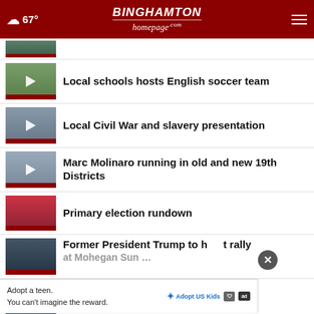☁ 67° | Binghamton Homepage.com
[Figure (screenshot): Partial thumbnail of a news video, partially cropped at top]
Local schools hosts English soccer team
Local Civil War and slavery presentation
Marc Molinaro running in old and new 19th Districts
Primary election rundown
Former President Trump to host rally at Mohegan Sun …
Adopt a teen. You can't imagine the reward.
meet Meatloaf